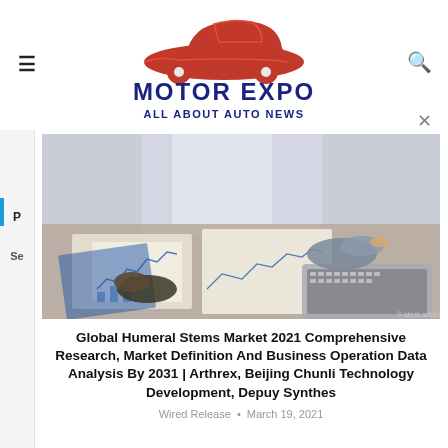[Figure (logo): Motor Expo - All About Auto News logo with red car silhouette above blue bold text]
[Figure (photo): Business people reviewing charts and documents on a desk with a laptop]
Global Humeral Stems Market 2021 Comprehensive Research, Market Definition And Business Operation Data Analysis By 2031 | Arthrex, Beijing Chunli Technology Development, Depuy Synthes
Wired Release • March 19, 2021